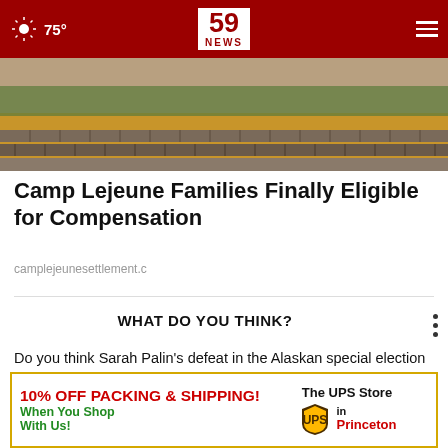75° | 59 NEWS
[Figure (photo): Outdoor landscape photo showing terraced stone retaining walls with dry grass and some green shrubbery]
Camp Lejeune Families Finally Eligible for Compensation
camplejeunesettlement.c
WHAT DO YOU THINK?
Do you think Sarah Palin's defeat in the Alaskan special election is a broader indicator of the direction of the Republican Party as a whole?
Yes, I think so
No...
[Figure (infographic): UPS Store advertisement banner: '10% OFF PACKING & SHIPPING! When You Shop With Us! The UPS Store [logo] in Princeton']